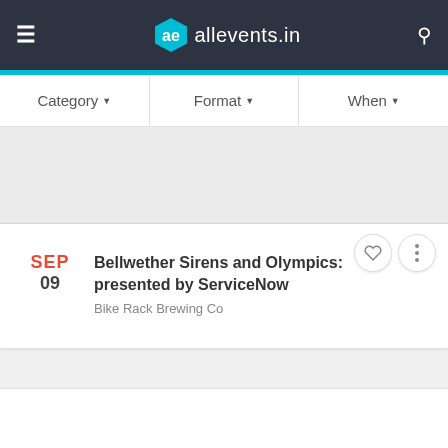allevents.in
Category  Format  When
[Figure (screenshot): Gray advertisement / image placeholder area]
SEP 09 Bellwether Sirens and Olympics: presented by ServiceNow
Bike Rack Brewing Co